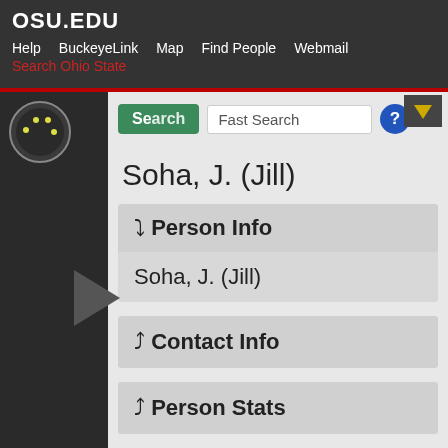OSU.EDU
Help  BuckeyeLink  Map  Find People  Webmail  Search Ohio State
Fast Search
Soha, J. (Jill)
▾ Person Info
Soha, J. (Jill)
▴ Contact Info
▴ Person Stats